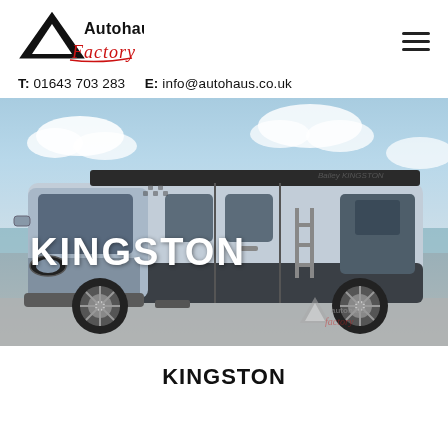[Figure (logo): Autohaus Factory logo with black triangle and red script lettering]
T: 01643 703 283   E: info@autohaus.co.uk
[Figure (photo): A silver campervan/motorhome (Fiat Ducato based) parked near a coastal area with blue sky and clouds. 'KINGSTON' text overlaid in white bold letters. Autohaus Factory watermark logo bottom right.]
KINGSTON